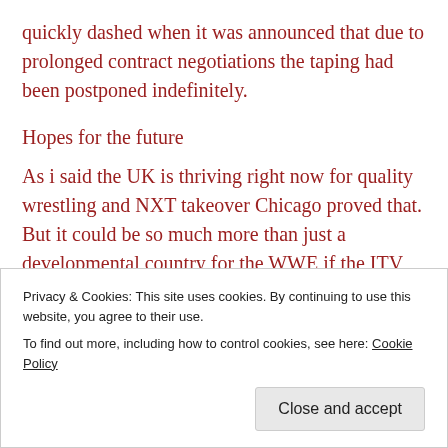quickly dashed when it was announced that due to prolonged contract negotiations the taping had been postponed indefinitely.
Hopes for the future
As i said the UK is thriving right now for quality wrestling and NXT takeover Chicago proved that. But it could be so much more than just a developmental country for the WWE if the ITV show had taken off this year i doubt it would of had the critical acclaim progress gets on a monthly basis but it would have
Privacy & Cookies: This site uses cookies. By continuing to use this website, you agree to their use.
To find out more, including how to control cookies, see here: Cookie Policy
Close and accept